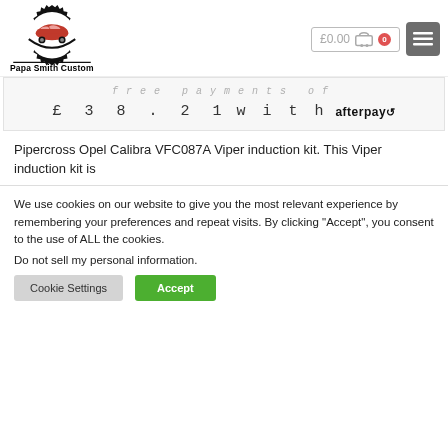[Figure (logo): Papa Smith Custom logo with gear/car graphic and text]
£0.00 (cart with 0 items) and hamburger menu icon
free payments of £ 3 8 . 2 1 w i t h afterpay
Pipercross Opel Calibra VFC087A Viper induction kit. This Viper induction kit is
We use cookies on our website to give you the most relevant experience by remembering your preferences and repeat visits. By clicking "Accept", you consent to the use of ALL the cookies.
Do not sell my personal information.
Cookie Settings  Accept